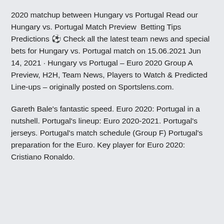2020 matchup between Hungary vs Portugal Read our Hungary vs. Portugal Match Preview  Betting Tips Predictions ⚽ Check all the latest team news and special bets for Hungary vs. Portugal match on 15.06.2021 Jun 14, 2021 · Hungary vs Portugal – Euro 2020 Group A Preview, H2H, Team News, Players to Watch & Predicted Line-ups – originally posted on Sportslens.com.
Gareth Bale's fantastic speed. Euro 2020: Portugal in a nutshell. Portugal's lineup: Euro 2020-2021. Portugal's jerseys. Portugal's match schedule (Group F) Portugal's preparation for the Euro. Key player for Euro 2020: Cristiano Ronaldo.